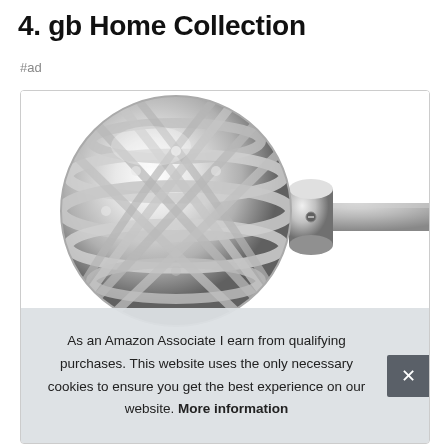4. gb Home Collection
#ad
[Figure (photo): Close-up photo of a chrome lattice/cage-style curtain rod finial ball with a chrome cylindrical connector and rod extending to the right, on a white background.]
As an Amazon Associate I earn from qualifying purchases. This website uses the only necessary cookies to ensure you get the best experience on our website. More information